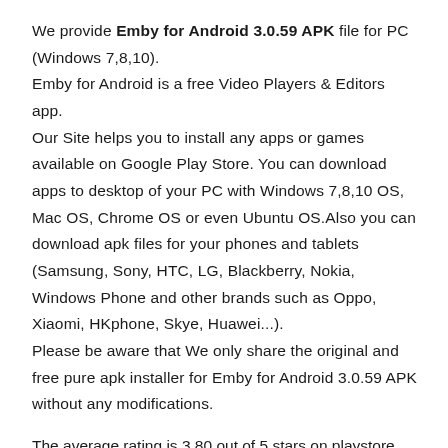We provide Emby for Android 3.0.59 APK file for PC (Windows 7,8,10). Emby for Android is a free Video Players & Editors app. Our Site helps you to install any apps or games available on Google Play Store. You can download apps to desktop of your PC with Windows 7,8,10 OS, Mac OS, Chrome OS or even Ubuntu OS.Also you can download apk files for your phones and tablets (Samsung, Sony, HTC, LG, Blackberry, Nokia, Windows Phone and other brands such as Oppo, Xiaomi, HKphone, Skye, Huawei...). Please be aware that We only share the original and free pure apk installer for Emby for Android 3.0.59 APK without any modifications.
The average rating is 3.80 out of 5 stars on playstore.